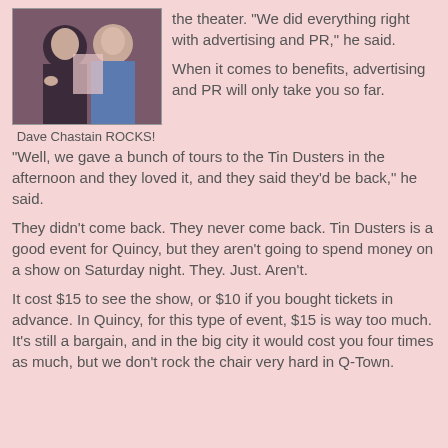[Figure (photo): Two men at what appears to be a music or theater event, one in a blue shirt.]
Dave Chastain ROCKS!
the theater. "We did everything right with advertising and PR," he said.
When it comes to benefits, advertising and PR will only take you so far.
"Well, we gave a bunch of tours to the Tin Dusters in the afternoon and they loved it, and they said they'd be back," he said.
They didn't come back. They never come back. Tin Dusters is a good event for Quincy, but they aren't going to spend money on a show on Saturday night. They. Just. Aren't.
It cost $15 to see the show, or $10 if you bought tickets in advance. In Quincy, for this type of event, $15 is way too much. It's still a bargain, and in the big city it would cost you four times as much, but we don't rock the chair very hard in Q-Town.